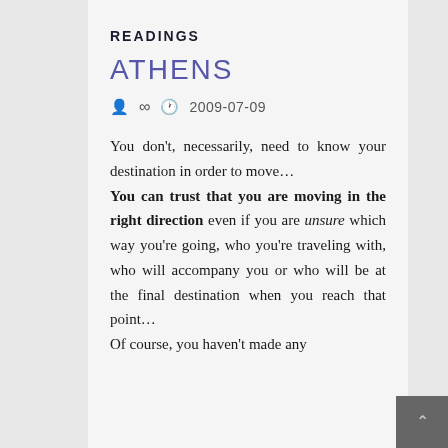READINGS
ATHENS
∞  2009-07-09
You don't, necessarily, need to know your destination in order to move… You can trust that you are moving in the right direction even if you are unsure which way you're going, who you're traveling with, who will accompany you or who will be at the final destination when you reach that point… Of course, you haven't made any